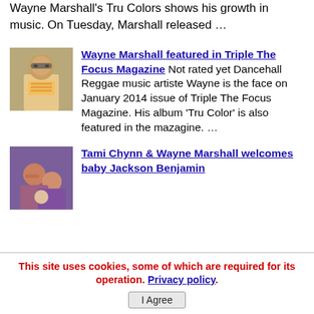Wayne Marshall's Tru Colors shows his growth in music. On Tuesday, Marshall released …
[Figure (photo): Thumbnail photo of Wayne Marshall wearing sunglasses and a striped shirt]
Wayne Marshall featured in Triple The Focus Magazine Not rated yet Dancehall Reggae music artiste Wayne is the face on January 2014 issue of Triple The Focus Magazine. His album 'Tru Color' is also featured in the mazagine. …
[Figure (photo): Thumbnail photo of Tami Chynn and Wayne Marshall]
Tami Chynn & Wayne Marshall welcomes baby Jackson Benjamin
This site uses cookies, some of which are required for its operation. Privacy policy. I Agree